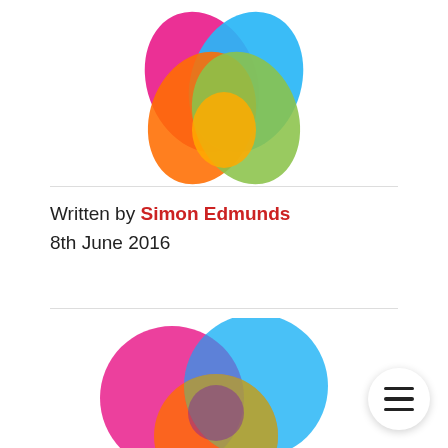[Figure (logo): Colorful heart-shaped overlapping petals logo with pink, orange, green, and blue segments at top of page]
Written by Simon Edmunds
8th June 2016
[Figure (illustration): Venn diagram with three overlapping circles in pink, blue, orange, green, and purple at bottom of page]